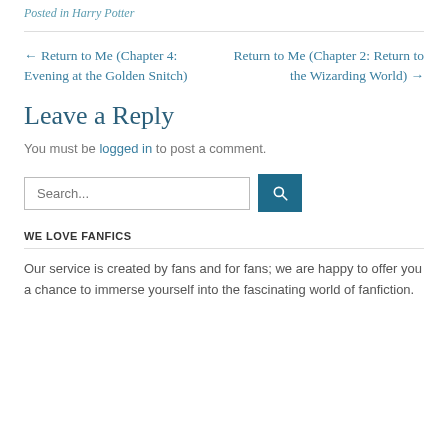Posted in Harry Potter
← Return to Me (Chapter 4: Evening at the Golden Snitch)
Return to Me (Chapter 2: Return to the Wizarding World) →
Leave a Reply
You must be logged in to post a comment.
Search...
WE LOVE FANFICS
Our service is created by fans and for fans; we are happy to offer you a chance to immerse yourself into the fascinating world of fanfiction.